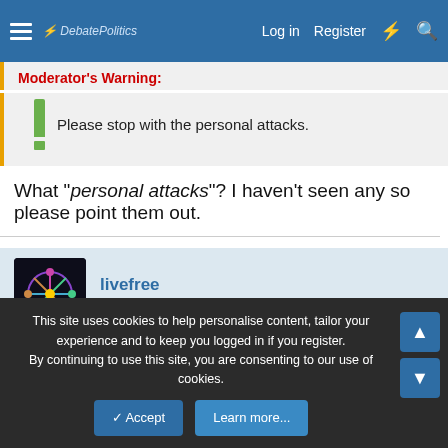DebatePolitics — Log in  Register
Moderator's Warning:
Please stop with the personal attacks.
What "personal attacks"? I haven't seen any so please point them out.
livefree
Active member
Jun 8, 2011  #21
Kernel Sanders said:
This site uses cookies to help personalise content, tailor your experience and to keep you logged in if you register.
By continuing to use this site, you are consenting to our use of cookies.
Accept  Learn more...